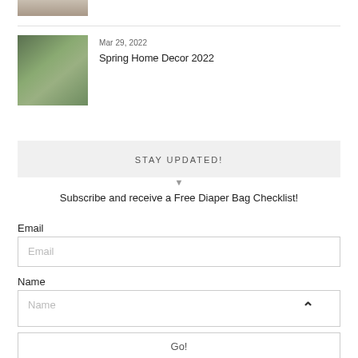[Figure (photo): Partial thumbnail of a decorative item at top of page, cropped]
[Figure (photo): Thumbnail showing a person with plants/flowers, Spring Home Decor 2022 article]
Mar 29, 2022
Spring Home Decor 2022
STAY UPDATED!
Subscribe and receive a Free Diaper Bag Checklist!
Email
Name
Go!